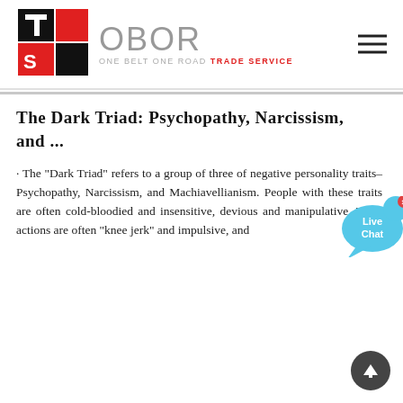OBOR — ONE BELT ONE ROAD TRADE SERVICE (logo + navigation)
The Dark Triad: Psychopathy, Narcissism, and ...
· The "Dark Triad" refers to a group of three of negative personality traits–Psychopathy, Narcissism, and Machiavellianism. People with these traits are often cold-bloodied and insensitive, devious and manipulative. Their actions are often "knee jerk" and impulsive, and
[Figure (illustration): Live Chat speech bubble widget with blue color and 'x' close button in top right corner]
[Figure (illustration): Dark grey circular scroll-to-top button with upward arrow icon]